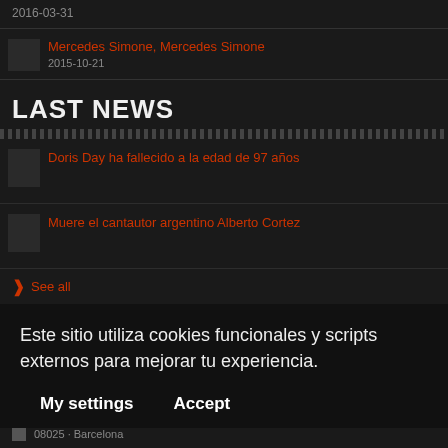2016-03-31
Mercedes Simone, Mercedes Simone
2015-10-21
LAST NEWS
Doris Day ha fallecido a la edad de 97 años
Muere el cantautor argentino Alberto Cortez
See all
Este sitio utiliza cookies funcionales y scripts externos para mejorar tu experiencia.
My settings
Accept
08025 · Barcelona